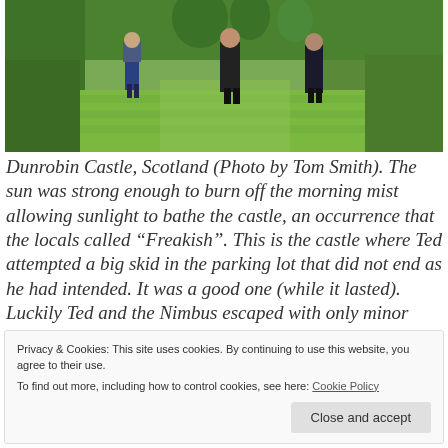[Figure (photo): Outdoor garden photo showing three people standing on a manicured green lawn with tall trimmed hedges and topiaries in the background, at Dunrobin Castle, Scotland.]
Dunrobin Castle, Scotland (Photo by Tom Smith). The sun was strong enough to burn off the morning mist allowing sunlight to bathe the castle, an occurrence that the locals called “Freakish”. This is the castle where Ted attempted a big skid in the parking lot that did not end as he had intended. It was a good one (while it lasted). Luckily Ted and the Nimbus escaped with only minor scratches.
Privacy & Cookies: This site uses cookies. By continuing to use this website, you agree to their use. To find out more, including how to control cookies, see here: Cookie Policy